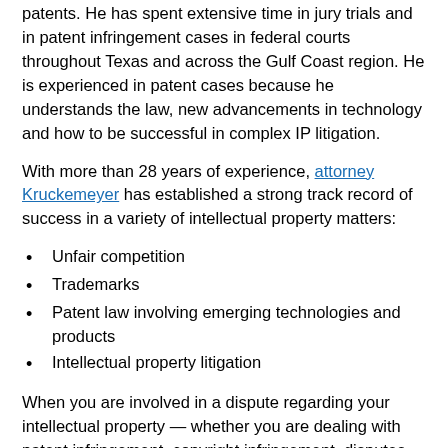patents. He has spent extensive time in jury trials and in patent infringement cases in federal courts throughout Texas and across the Gulf Coast region. He is experienced in patent cases because he understands the law, new advancements in technology and how to be successful in complex IP litigation.
With more than 28 years of experience, attorney Kruckemeyer has established a strong track record of success in a variety of intellectual property matters:
Unfair competition
Trademarks
Patent law involving emerging technologies and products
Intellectual property litigation
When you are involved in a dispute regarding your intellectual property — whether you are dealing with patent infringement, copyright infringement, disputes over trade secrets or a related matter — it is important to talk to an attorney about your legal options.